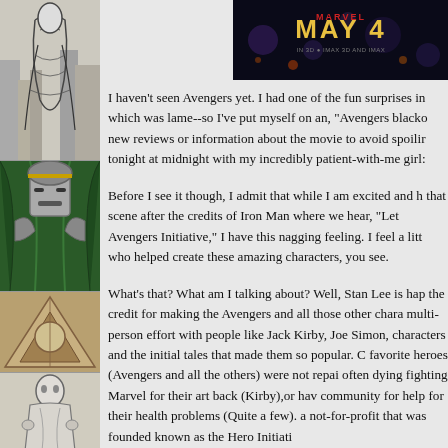[Figure (illustration): Left sidebar with comic book artwork panels: top panel shows a robed/cloaked figure in black and white sketch style against a cityscape, middle panel shows Doctor Doom in green cloak, lower panels show additional comic figures]
[Figure (screenshot): Movie banner for Avengers showing MAY 4 release date on dark background]
I haven't seen Avengers yet. I had one of the fun surprises in which was lame--so I've put myself on an, "Avengers blacko new reviews or information about the movie to avoid spoilir tonight at midnight with my incredibly patient-with-me girl:
Before I see it though, I admit that while I am excited and h that scene after the credits of Iron Man where we hear, "Let Avengers Initiative," I have this nagging feeling. I feel a litt who helped create these amazing characters, you see.
What's that? What am I talking about? Well, Stan Lee is hap the credit for making the Avengers and all those other chara multi-person effort with people like Jack Kirby, Joe Simon, characters and the initial tales that made them so popular. C favorite heroes (Avengers and all the others) were not repai often dying fighting Marvel for their art back (Kirby),or hav community for help for their health problems (Quite a few). a not-for-profit that was founded known as the Hero Initiati